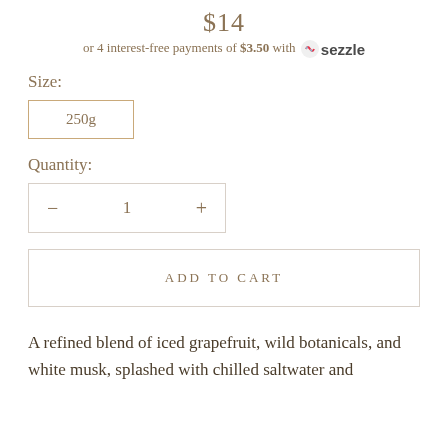$14
or 4 interest-free payments of $3.50 with sezzle
Size:
250g
Quantity:
− 1 +
ADD TO CART
A refined blend of iced grapefruit, wild botanicals, and white musk, splashed with chilled saltwater and